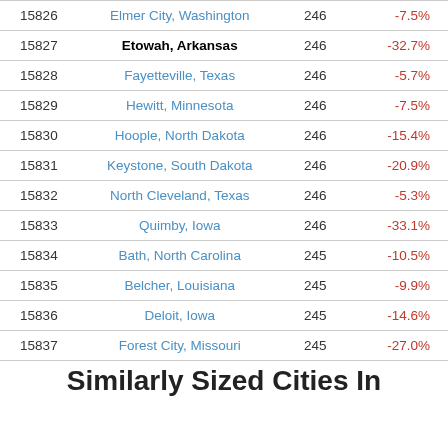|  | City | Population | Change |
| --- | --- | --- | --- |
| 15826 | Elmer City, Washington | 246 | -7.5% |
| 15827 | Etowah, Arkansas | 246 | -32.7% |
| 15828 | Fayetteville, Texas | 246 | -5.7% |
| 15829 | Hewitt, Minnesota | 246 | -7.5% |
| 15830 | Hoople, North Dakota | 246 | -15.4% |
| 15831 | Keystone, South Dakota | 246 | -20.9% |
| 15832 | North Cleveland, Texas | 246 | -5.3% |
| 15833 | Quimby, Iowa | 246 | -33.1% |
| 15834 | Bath, North Carolina | 245 | -10.5% |
| 15835 | Belcher, Louisiana | 245 | -9.9% |
| 15836 | Deloit, Iowa | 245 | -14.6% |
| 15837 | Forest City, Missouri | 245 | -27.0% |
Similarly Sized Cities In